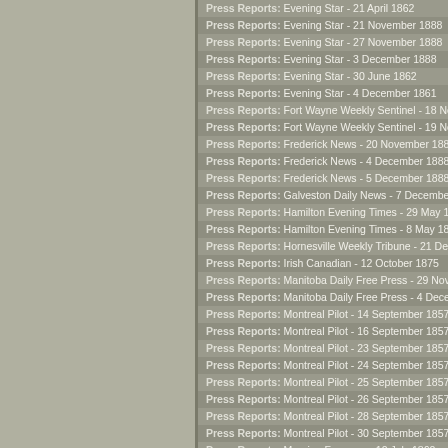Press Reports: Evening Star - 21 April 1862
Press Reports: Evening Star - 21 November 1888
Press Reports: Evening Star - 27 November 1888
Press Reports: Evening Star - 3 December 1888
Press Reports: Evening Star - 30 June 1862
Press Reports: Evening Star - 4 December 1861
Press Reports: Fort Wayne Weekly Sentinel - 18 November
Press Reports: Fort Wayne Weekly Sentinel - 19 November
Press Reports: Frederick News - 20 November 1888
Press Reports: Frederick News - 4 December 1888
Press Reports: Frederick News - 5 December 1888
Press Reports: Galveston Daily News - 7 December 1888
Press Reports: Hamilton Evening Times - 29 May 1865
Press Reports: Hamilton Evening Times - 8 May 1865
Press Reports: Hornesville Weekly Tribune - 21 December
Press Reports: Irish Canadian - 12 October 1875
Press Reports: Manitoba Daily Free Press - 29 November
Press Reports: Manitoba Daily Free Press - 4 December 18
Press Reports: Montreal Pilot - 14 September 1857
Press Reports: Montreal Pilot - 16 September 1857
Press Reports: Montreal Pilot - 23 September 1857
Press Reports: Montreal Pilot - 24 September 1857
Press Reports: Montreal Pilot - 25 September 1857
Press Reports: Montreal Pilot - 26 September 1857
Press Reports: Montreal Pilot - 28 September 1857
Press Reports: Montreal Pilot - 30 September 1857
Press Reports: Morning Freeman - 10 July 1860
Press Reports: Morning Freeman - 11 August 1860
Press Reports: Morning Freeman - 13 September 1860
Press Reports: Morning Freeman - 14 August 1860
Press Reports: Morning Freeman - 16 October 1860
Press Reports: Morning Freeman - 27 September 1860
Press Reports: Morning Freeman - ...